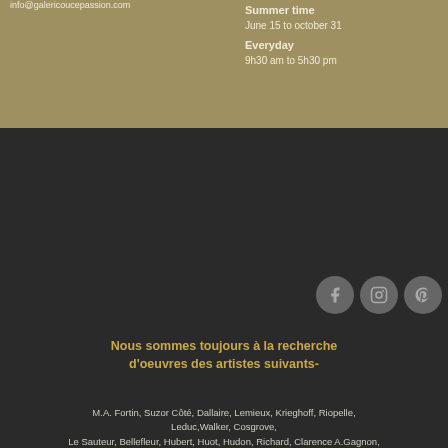info@galericoucepassion.com
Summer time
June 15 to october 31
Everyday
9h30 am to 5h30 pm
[Figure (illustration): Three social media icon circles: Facebook, Instagram, Pinterest — dark gray circles on dark background]
Nous sommes toujours à la recherche d'oeuvres des artistes suivants-
M.A. Fortin, Suzor Côté, Dallaire, Lemieux, Krieghoff, Riopelle, Leduc,Walker, Cosgrove, Le Sauteur, Bellefleur, Hubert, Huot, Hudon, Richard, Clarence A.Gagnon, Groupe des Sept.
Si vous possédez des oeuvres de ces artistes et que vous aimeriez les vendre, nous vous prions de communiquer avec nous au (418) 648-9292. Merci-
Copyright © 2015 Douce Passion. All rights reserved